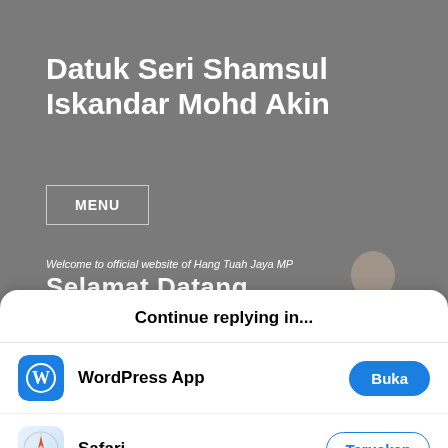[Figure (screenshot): Screenshot of a website header for 'Datuk Seri Shamsul Iskandar Mohd Akin' with dark grey background, showing site title, MENU button, and a banner section reading 'Selamat Datang ke Laman Rasmi' with a person photo partially visible]
Continue replying in...
WordPress App — Buka
Safari — Teruskan